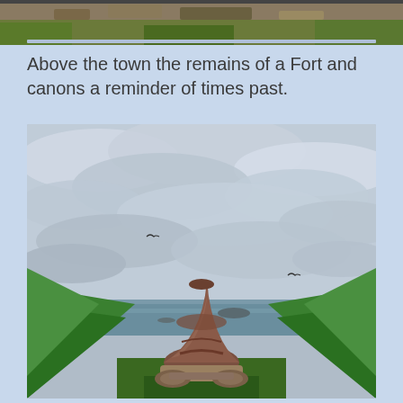[Figure (photo): Partial top strip of a landscape photo showing rocky ground with grass and earth tones]
Above the town the remains of a Fort and canons a reminder of times past.
[Figure (photo): A historical iron cannon mounted on wooden carriage pointing towards the sea, with green grassy embankments on either side, the grey-blue sea visible in the background under a cloudy overcast sky. Two birds visible in the sky.]